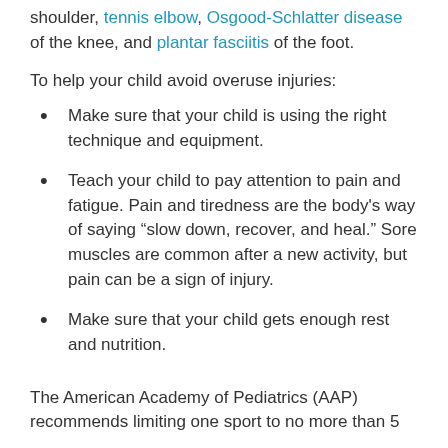shoulder, tennis elbow, Osgood-Schlatter disease of the knee, and plantar fasciitis of the foot.
To help your child avoid overuse injuries:
Make sure that your child is using the right technique and equipment.
Teach your child to pay attention to pain and fatigue. Pain and tiredness are the body's way of saying “slow down, recover, and heal.” Sore muscles are common after a new activity, but pain can be a sign of injury.
Make sure that your child gets enough rest and nutrition.
The American Academy of Pediatrics (AAP) recommends limiting one sport to no more than 5